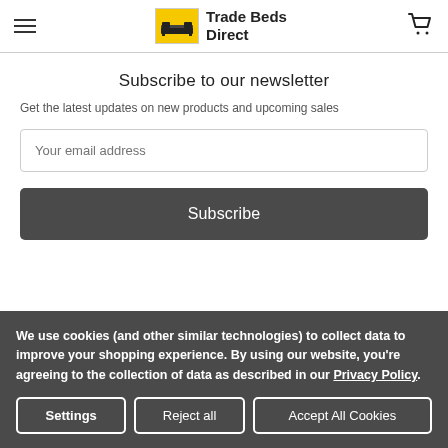Trade Beds Direct
Subscribe to our newsletter
Get the latest updates on new products and upcoming sales
Your email address
Subscribe
We use cookies (and other similar technologies) to collect data to improve your shopping experience. By using our website, you're agreeing to the collection of data as described in our Privacy Policy.
Settings | Reject all | Accept All Cookies